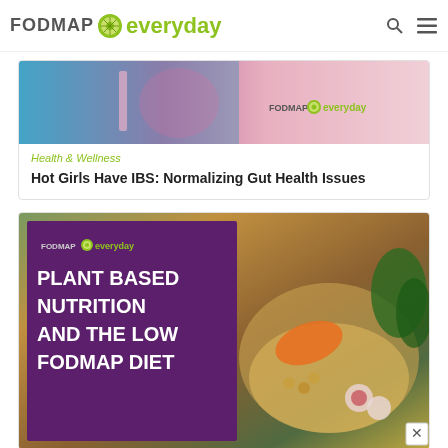FODMAP everyday
[Figure (photo): Partial photo with blue/pink gradient background, FODMAP everyday watermark]
Health & Wellness
Hot Girls Have IBS: Normalizing Gut Health Issues
[Figure (photo): Plant based nutrition and the low FODMAP diet article image showing food bowl with purple text overlay]
[Figure (photo): Bottom image partially visible, light gray/white food photo]